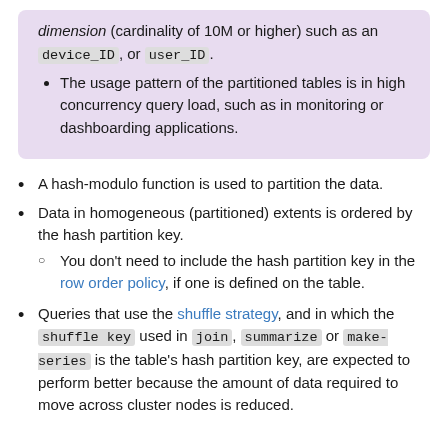dimension (cardinality of 10M or higher) such as an device_ID, or user_ID.
The usage pattern of the partitioned tables is in high concurrency query load, such as in monitoring or dashboarding applications.
A hash-modulo function is used to partition the data.
Data in homogeneous (partitioned) extents is ordered by the hash partition key.
You don't need to include the hash partition key in the row order policy, if one is defined on the table.
Queries that use the shuffle strategy, and in which the shuffle key used in join, summarize or make-series is the table's hash partition key, are expected to perform better because the amount of data required to move across cluster nodes is reduced.